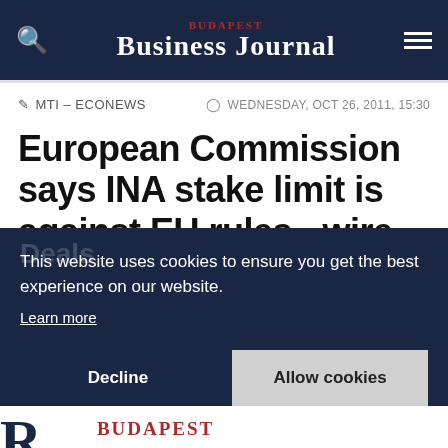BUDAPEST BUSINESS JOURNAL
MTI – ECONEWS   WEDNESDAY, OCT 26, 2011, 15:30
European Commission says INA stake limit is against EU rules - wire
This website uses cookies to ensure you get the best experience on our website. Learn more
Decline   Allow cookies